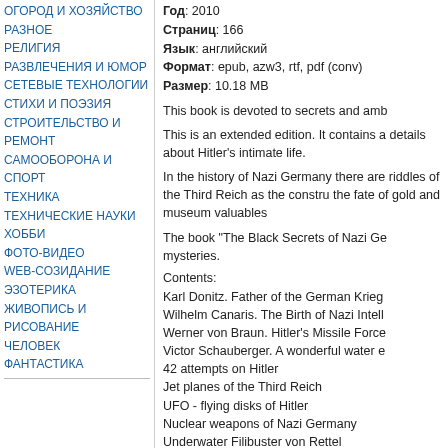ОГОРОД И ХОЗЯЙСТВО
РАЗНОЕ
РЕЛИГИЯ
РАЗВЛЕЧЕНИЯ И ЮМОР
СЕТЕВЫЕ ТЕХНОЛОГИИ
СТИХИ И ПОЭЗИЯ
СТРОИТЕЛЬСТВО И РЕМОНТ
САМООБОРОНА И СПОРТ
ТЕХНИКА
ТЕХНИЧЕСКИЕ НАУКИ
ХОББИ
ФОТО-ВИДЕО
WEB-СОЗИДАНИЕ
ЭЗОТЕРИКА
ЖИВОПИСЬ И РИСОВАНИЕ
ЧЕЛОВЕК
ФАНТАСТИКА
Год: 2010
Страниц: 166
Язык: английский
Формат: epub, azw3, rtf, pdf (conv)
Размер: 10.18 MB
This book is devoted to secrets and amb
This is an extended edition. It contains a details about Hitler's intimate life.
In the history of Nazi Germany there are riddles of the Third Reich as the constru the fate of gold and museum valuables
The book "The Black Secrets of Nazi Ge mysteries.
Contents:
Karl Donitz. Father of the German Krieg
Wilhelm Canaris. The Birth of Nazi Intell
Werner von Braun. Hitler's Missile Force
Victor Schauberger. A wonderful water e
42 attempts on Hitler
Jet planes of the Third Reich
UFO - flying disks of Hitler
Nuclear weapons of Nazi Germany
Underwater Filibuster von Rettel
Atlantic Wall - paper fortress
10 world-renowned firms working with th
When and where did Hitler die?
Who financed Hitler?
Unknown Adolf Hitler
Скачать Black Secrets о